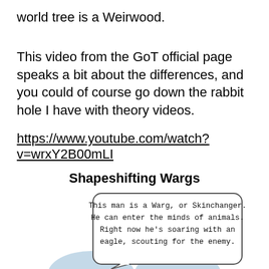world tree is a Weirwood.
This video from the GoT official page speaks a bit about the differences, and you could of course go down the rabbit hole I have with theory videos.
https://www.youtube.com/watch?v=wrxY2B00mLI
Shapeshifting Wargs
[Figure (illustration): Comic-style speech bubble with handwritten text: 'This man is a Warg, or Skinchanger. He can enter the minds of animals. Right now he's soaring with an eagle, scouting for the enemy.' Below the bubble are two rounded blue-grey shapes suggesting a person's shoulders/head seen from behind.]